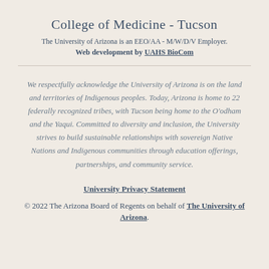College of Medicine - Tucson
The University of Arizona is an EEO/AA - M/W/D/V Employer.
Web development by UAHS BioCom
We respectfully acknowledge the University of Arizona is on the land and territories of Indigenous peoples. Today, Arizona is home to 22 federally recognized tribes, with Tucson being home to the O'odham and the Yaqui. Committed to diversity and inclusion, the University strives to build sustainable relationships with sovereign Native Nations and Indigenous communities through education offerings, partnerships, and community service.
University Privacy Statement
© 2022 The Arizona Board of Regents on behalf of The University of Arizona.